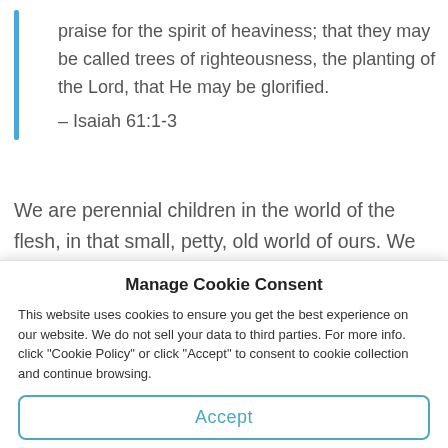praise for the spirit of heaviness; that they may be called trees of righteousness, the planting of the Lord, that He may be glorified.
– Isaiah 61:1-3
We are perennial children in the world of the flesh, in that small, petty, old world of ours. We begin as children from childhood: we continue to be children through our adolescence and all the way into adulthood: we remain
Manage Cookie Consent
This website uses cookies to ensure you get the best experience on our website. We do not sell your data to third parties. For more info. click "Cookie Policy" or click "Accept" to consent to cookie collection and continue browsing.
Accept